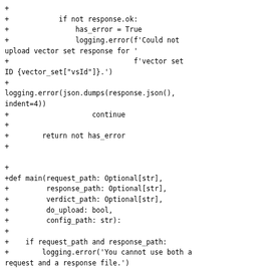+
+            if not response.ok:
+                has_error = True
+                logging.error(f'Could not upload vector set response for '
+                              f'vector set ID {vector_set["vsId"]}.') 
+
logging.error(json.dumps(response.json(), indent=4))
+                    continue
+
+        return not has_error
+
+
+def main(request_path: Optional[str],
+         response_path: Optional[str],
+         verdict_path: Optional[str],
+         do_upload: bool,
+         config_path: str):
+
+    if request_path and response_path:
+        logging.error('You cannot use both a request and a response file.')
+        sys.exit(1)
+
+    if not any([request_path, response_path]):
+        logging.error('You must specify either a request or a response file.')